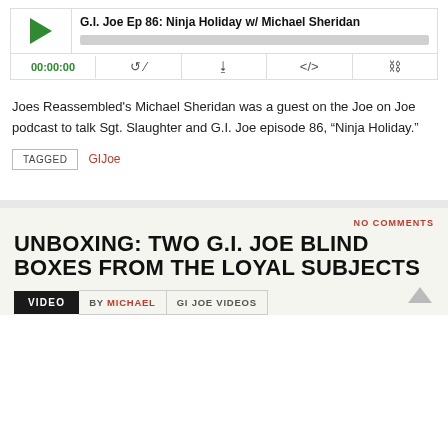[Figure (screenshot): Podcast audio player widget showing play button, episode title 'G.I. Joe Ep 86: Ninja Holiday w/ Michael Sheridan', progress bar, time display '00:00:00', and control icons for RSS, download, embed, and share.]
Joes Reassembled’s Michael Sheridan was a guest on the Joe on Joe podcast to talk Sgt. Slaughter and G.I. Joe episode 86, “Ninja Holiday.”
TAGGED  GIJoe
NO COMMENTS
UNBOXING: TWO G.I. JOE BLIND BOXES FROM THE LOYAL SUBJECTS
VIDEO  BY MICHAEL  GI JOE VIDEOS